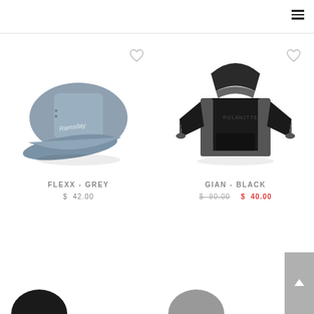[Figure (screenshot): E-commerce product listing page showing two clothing/accessory items: a grey cap (FLEXX - GREY, $42.00) and a black hoodie (GIAN - BLACK, originally $80.00 on sale for $40.00). Navigation hamburger menu in top right. Scroll-to-top button at bottom right. Partial product images visible at bottom.]
FLEXX - GREY
$ 42.00
GIAN - BLACK
$ 80.00 $ 40.00